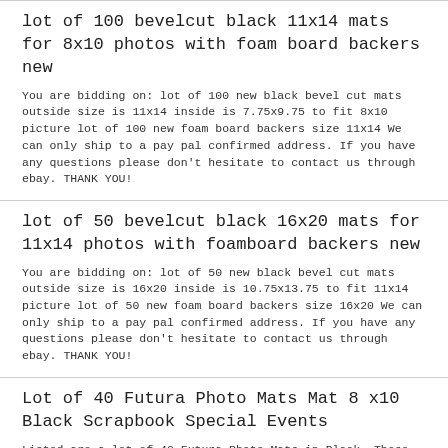lot of 100 bevelcut black 11x14 mats for 8x10 photos with foam board backers new
You are bidding on: lot of 100 new black bevel cut mats outside size is 11x14 inside is 7.75x9.75 to fit 8x10 picture lot of 100 new foam board backers size 11x14 We can only ship to a pay pal confirmed address. If you have any questions please don't hesitate to contact us through ebay. THANK YOU!
lot of 50 bevelcut black 16x20 mats for 11x14 photos with foamboard backers new
You are bidding on: lot of 50 new black bevel cut mats outside size is 16x20 inside is 10.75x13.75 to fit 11x14 picture lot of 50 new foam board backers size 16x20 We can only ship to a pay pal confirmed address. If you have any questions please don't hesitate to contact us through ebay. THANK YOU!
Lot of 40 Futura Photo Mats Mat 8 x10 Black Scrapbook Special Events
Listed are a lot of 40 Futura Photo Mats in Black. These hold a picture that measures 8 x 10. Great for special events or scrap booking! Please make sure to check out my other auctions for great vintage. Collectables